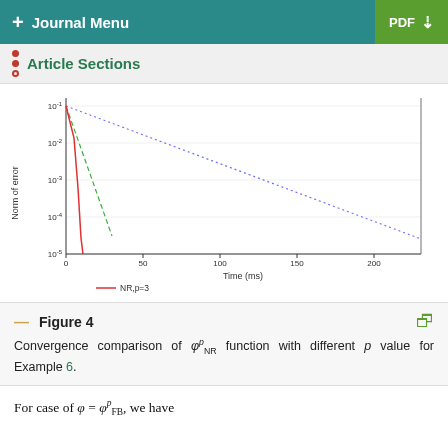+ Journal Menu | PDF
Article Sections
[Figure (line-chart): Convergence comparison of phi_NR^p function with different p values, log scale y-axis from 10^-5 to 10^-1, x-axis Time (ms) from 0 to 200+]
Figure 4
Convergence comparison of φ_NR^p function with different p value for Example 6.
For case of φ = φ_FB^p, we have